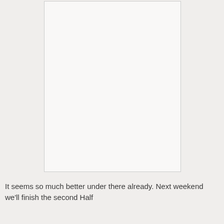[Figure (other): A blank or mostly empty white rectangular image area with a light gray border, occupying the upper portion of the page.]
It seems so much better under there already. Next weekend we'll finish the second Half